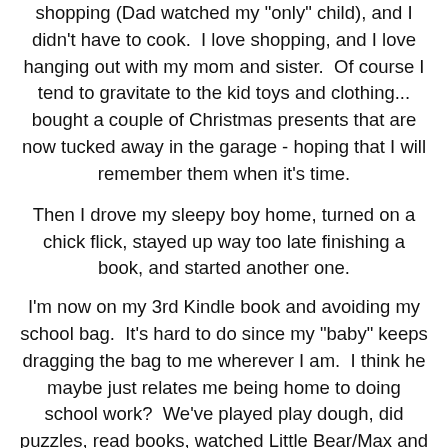shopping (Dad watched my "only" child), and I didn't have to cook.  I love shopping, and I love hanging out with my mom and sister.  Of course I tend to gravitate to the kid toys and clothing... bought a couple of Christmas presents that are now tucked away in the garage - hoping that I will remember them when it's time.
Then I drove my sleepy boy home, turned on a chick flick, stayed up way too late finishing a book, and started another one.
I'm now on my 3rd Kindle book and avoiding my school bag.  It's hard to do since my "baby" keeps dragging the bag to me wherever I am.  I think he maybe just relates me being home to doing school work?  We've played play dough, did puzzles, read books, watched Little Bear/Max and Ruby/Blue's Clues (told you I wanted to read my book), and now he is playing with his Mickey Mouse Clubhouse.
My big accomplishments for today?
I changed from one pair of comfy pants to another pair of comfy pants, and I went grocery shopping because